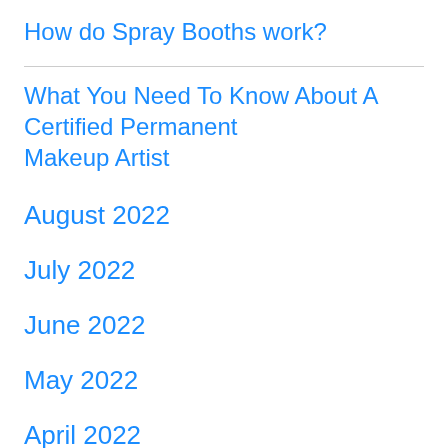How do Spray Booths work?
What You Need To Know About A Certified Permanent Makeup Artist
August 2022
July 2022
June 2022
May 2022
April 2022
March 2022
February 2022